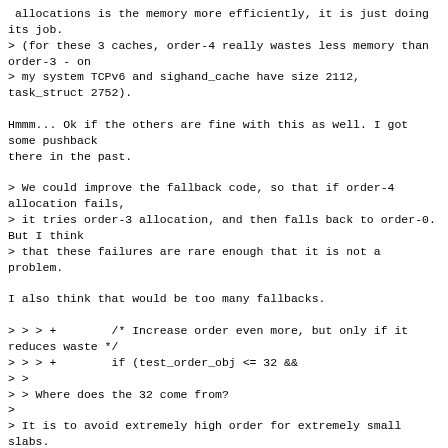> allocations is the memory more efficiently, it is just doing its job.
> (for these 3 caches, order-4 really wastes less memory than order-3 - on
> my system TCPv6 and sighand_cache have size 2112, task_struct 2752).
Hmmm... Ok if the others are fine with this as well. I got some pushback
there in the past.
> We could improve the fallback code, so that if order-4 allocation fails,
> it tries order-3 allocation, and then falls back to order-0. But I think
> that these failures are rare enough that it is not a problem.
I also think that would be too many fallbacks.
> > > +        /* Increase order even more, but only if it reduces waste */
> > > +        if (test_order_obj <= 32 &&
> >
> > Where does the 32 come from?
>
> It is to avoid extremely high order for extremely small slabs.
>
> For example, see kmalloc-96.
> 10922 96-byte objects would fit into 1MiB